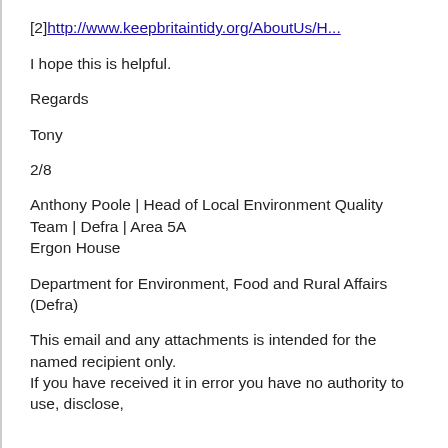[2] http://www.keepbritaintidy.org/AboutUs/H...
I hope this is helpful.
Regards
Tony
2/8
Anthony Poole | Head of Local Environment Quality Team | Defra | Area 5A
Ergon House
Department for Environment, Food and Rural Affairs (Defra)
This email and any attachments is intended for the named recipient only.
If you have received it in error you have no authority to use, disclose,